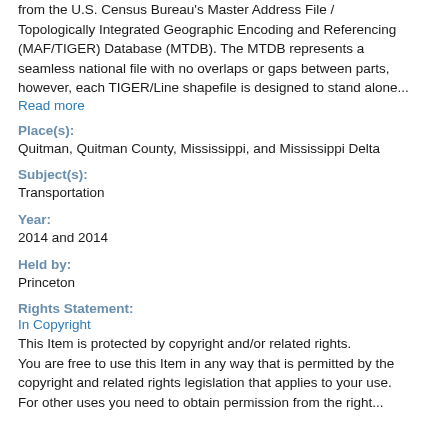from the U.S. Census Bureau's Master Address File / Topologically Integrated Geographic Encoding and Referencing (MAF/TIGER) Database (MTDB). The MTDB represents a seamless national file with no overlaps or gaps between parts, however, each TIGER/Line shapefile is designed to stand alone...
Read more
Place(s):
Quitman, Quitman County, Mississippi, and Mississippi Delta
Subject(s):
Transportation
Year:
2014 and 2014
Held by:
Princeton
Rights Statement:
In Copyright
This Item is protected by copyright and/or related rights. You are free to use this Item in any way that is permitted by the copyright and related rights legislation that applies to your use. For other uses you need to obtain permission from the right...